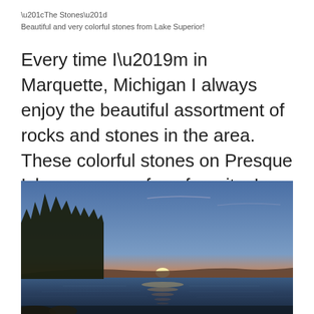“The Stones”
Beautiful and very colorful stones from Lake Superior!
Every time I’m in Marquette, Michigan I always enjoy the beautiful assortment of rocks and stones in the area. These colorful stones on Presque Isle are some of my favorites!
[Figure (photo): Sunset over a lake with silhouetted tree line on the left and distant hills on the horizon, warm orange and yellow glow at the horizon with blue sky above, water reflecting the sunlight.]